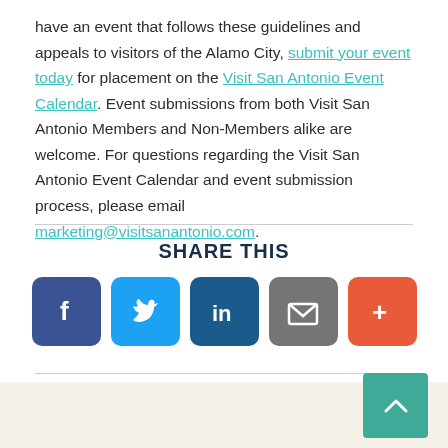have an event that follows these guidelines and appeals to visitors of the Alamo City, submit your event today for placement on the Visit San Antonio Event Calendar. Event submissions from both Visit San Antonio Members and Non-Members alike are welcome. For questions regarding the Visit San Antonio Event Calendar and event submission process, please email marketing@visitsanantonio.com.
[Figure (infographic): Share This section with social media icons: Facebook (dark blue), Twitter (light blue), LinkedIn (dark blue), Email (gray), More (orange-red)]